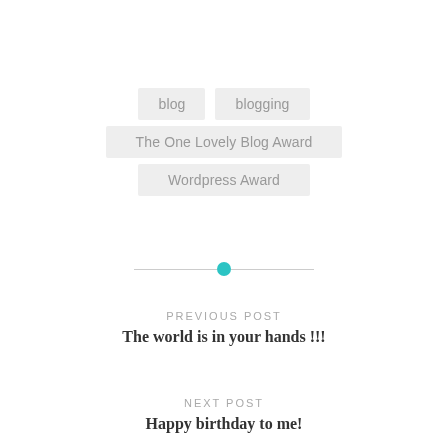blog
blogging
The One Lovely Blog Award
Wordpress Award
[Figure (other): Horizontal divider with teal circle dot in the center]
PREVIOUS POST
The world is in your hands !!!
NEXT POST
Happy birthday to me!